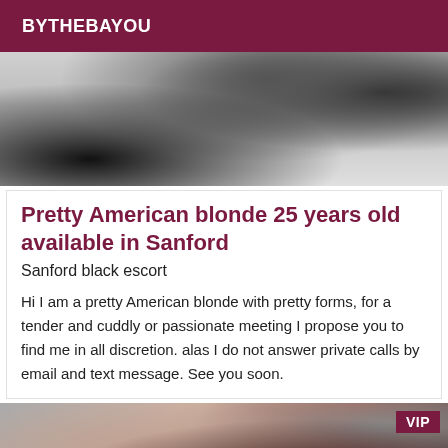BYTHEBAYOU
[Figure (photo): Top cropped photo showing dark clothing/fabric against white bedding background]
Pretty American blonde 25 years old available in Sanford
Sanford black escort
Hi I am a pretty American blonde with pretty forms, for a tender and cuddly or passionate meeting I propose you to find me in all discretion. alas I do not answer private calls by email and text message. See you soon.
[Figure (photo): Bottom cropped photo showing skin tones, red fabric, dark clothing in close-up with VIP badge overlay]